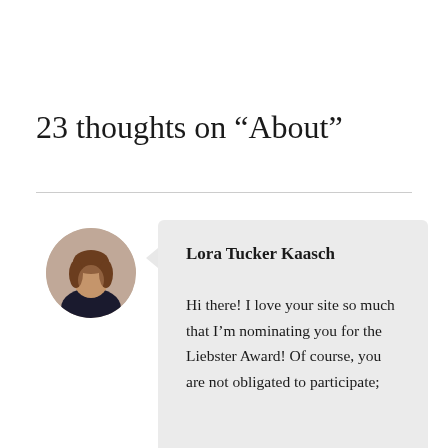23 thoughts on “About”
[Figure (photo): Circular avatar photo of Lora Tucker Kaasch, a woman with brown hair, wearing dark clothing, holding something in her hands, on a white background.]
Lora Tucker Kaasch
Hi there! I love your site so much that I’m nominating you for the Liebster Award! Of course, you are not obligated to participate;